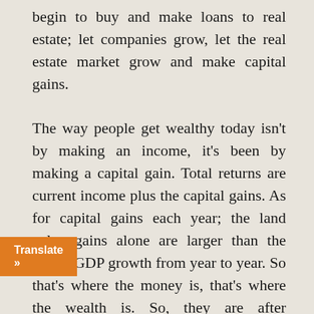begin to buy and make loans to real estate; let companies grow, let the real estate market grow and make capital gains.

The way people get wealthy today isn't by making an income, it's been by making a capital gain. Total returns are current income plus the capital gains. As for capital gains each year; the land value gains alone are larger than the whole GDP growth from year to year. So that's where the money is, that's where the wealth is. So, they are after speculative capital gains, they would like to push money into the Chinese stock market and real estate market. See the prices go up and then inflate the prices by buying in and then sell at a higher price. Pull the money out, get a capital